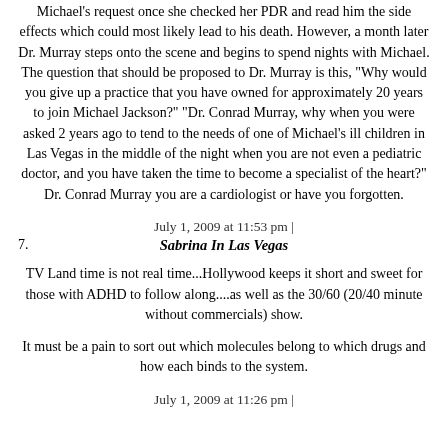Michael's request once she checked her PDR and read him the side effects which could most likely lead to his death. However, a month later Dr. Murray steps onto the scene and begins to spend nights with Michael. The question that should be proposed to Dr. Murray is this, "Why would you give up a practice that you have owned for approximately 20 years to join Michael Jackson?" "Dr. Conrad Murray, why when you were asked 2 years ago to tend to the needs of one of Michael's ill children in Las Vegas in the middle of the night when you are not even a pediatric doctor, and you have taken the time to become a specialist of the heart?" Dr. Conrad Murray you are a cardiologist or have you forgotten.
July 1, 2009 at 11:53 pm |
7. Sabrina In Las Vegas
TV Land time is not real time...Hollywood keeps it short and sweet for those with ADHD to follow along....as well as the 30/60 (20/40 minute without commercials) show.
It must be a pain to sort out which molecules belong to which drugs and how each binds to the system.
July 1, 2009 at 11:26 pm |